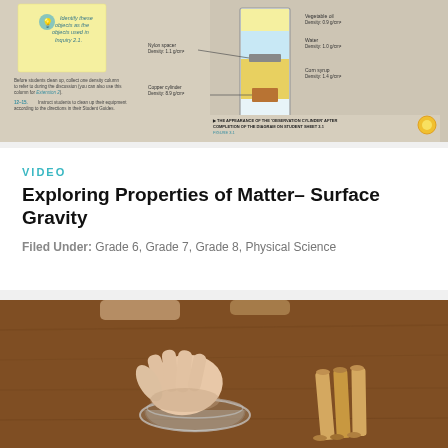[Figure (illustration): Science textbook page showing a density column diagram with labeled layers: Vegetable oil (0.9 g/cm³), Water (1.0 g/cm³), Corn syrup (1.4 g/cm³), Nylon spacer (1.1 g/cm³), Copper cylinder (8.9 g/cm³). Includes teacher instructions and a sticky note about identifying objects used in Inquiry 2.1. Caption reads: THE APPEARANCE OF THE 'OBSERVATION CYLINDER' AFTER COMPLETION OF THE DIAGRAM ON STUDENT SHEET 3.1, FIGURE 3.1]
VIDEO
Exploring Properties of Matter– Surface Gravity
Filed Under: Grade 6, Grade 7, Grade 8, Physical Science
[Figure (photo): A hand placing or picking up a glass bowl/dish on a wooden table surface, with three wooden sticks/dowels arranged nearby on the right side of the frame.]